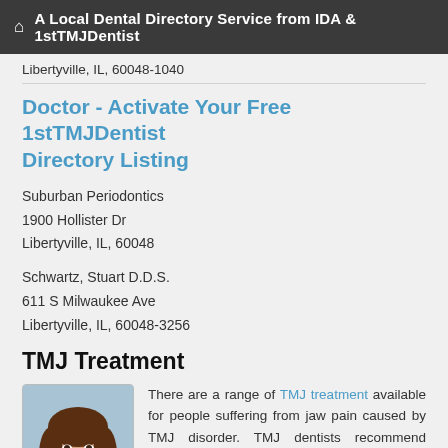A Local Dental Directory Service from IDA & 1stTMJDentist
Libertyville, IL, 60048-1040
Doctor - Activate Your Free 1stTMJDentist Directory Listing
Suburban Periodontics
1900 Hollister Dr
Libertyville, IL, 60048
Schwartz, Stuart D.D.S.
611 S Milwaukee Ave
Libertyville, IL, 60048-3256
TMJ Treatment
[Figure (photo): Portrait photo of a woman with brown hair, smiling]
There are a range of TMJ treatment available for people suffering from jaw pain caused by TMJ disorder. TMJ dentists recommend starting with the simplest treatment options first.
TMJ pain can often be relieved with some simple TMJ exercises to